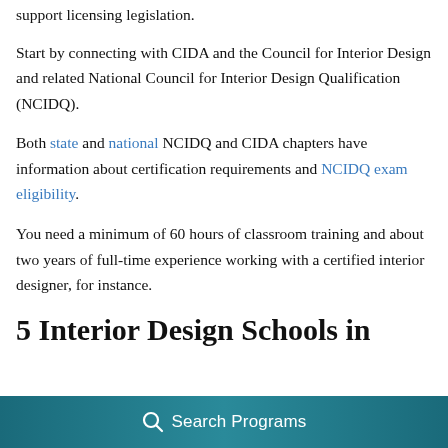support licensing legislation.
Start by connecting with CIDA and the Council for Interior Design and related National Council for Interior Design Qualification (NCIDQ).
Both state and national NCIDQ and CIDA chapters have information about certification requirements and NCIDQ exam eligibility.
You need a minimum of 60 hours of classroom training and about two years of full-time experience working with a certified interior designer, for instance.
5 Interior Design Schools in
Search Programs